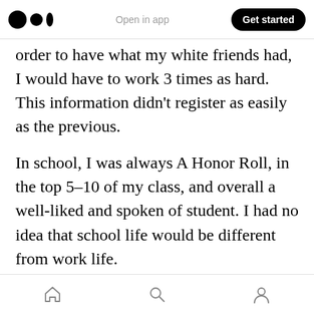Medium app header — Open in app | Get started
order to have what my white friends had, I would have to work 3 times as hard. This information didn't register as easily as the previous.
In school, I was always A Honor Roll, in the top 5–10 of my class, and overall a well-liked and spoken of student. I had no idea that school life would be different from work life.
It wasn't until I started applying for jobs that I understood where he was coming from. I had peers who were less qualified being given opportunities. I saw white peers who were “more
Bottom navigation bar: Home, Search, Profile